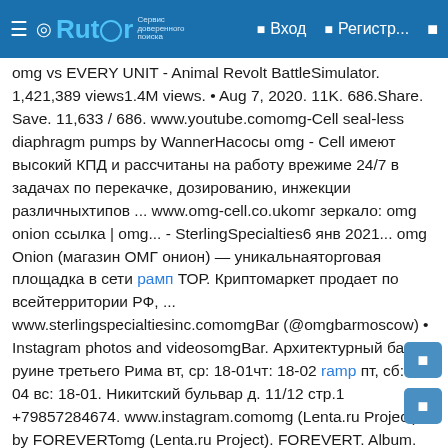Rutor — Вход — Регистр...
omg vs EVERY UNIT - Animal Revolt BattleSimulator. 1,421,389 views1.4M views. • Aug 7, 2020. 11K. 686.Share. Save. 11,633 / 686. www.youtube.comomg-Cell seal-less diaphragm pumps by WannerНасосы omg - Cell имеют высокий КПД и рассчитаны на работу врежиме 24/7 в задачах по перекачке, дозированию, инжекции различныхтипов ... www.omg-cell.co.ukomг зеркало: omg onion ссылка | omg... - SterlingSpecialties6 янв 2021... omg Onion (магазин ОМГ онион) — уникальнаяторговая площадка в сети рамп ТОР. Криптомаркет продает по всейтерритории РФ, ... www.sterlingspecialtiesinc.comomgBar (@omgbarmoscow) • Instagram photos and videosomgBar. Архитектурный бар в руине третьего Рима вт, ср: 18-01чт: 18-02 ramp пт, сб: 18-04 вс: 18-01. Никитский бульвар д. 11/12 стр.1 +79857284674. www.instagram.comomg (Lenta.ru Project) by FOREVERTomg (Lenta.ru Project). FOREVERT. Album. 51:16. 17 Tracks. Oct7, 2019. 1082. 169. omg. FOREVERT. 50.2K. 3:08. 1у · ONION.FOREVERT. 26.6K. soundcloud.comomg онион ссылка – Defiance and